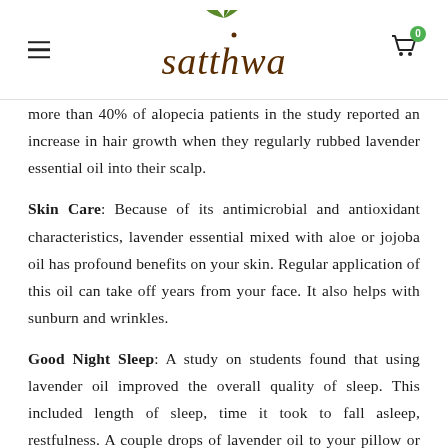satthwa
more than 40% of alopecia patients in the study reported an increase in hair growth when they regularly rubbed lavender essential oil into their scalp.
Skin Care: Because of its antimicrobial and antioxidant characteristics, lavender essential mixed with aloe or jojoba oil has profound benefits on your skin. Regular application of this oil can take off years from your face. It also helps with sunburn and wrinkles.
Good Night Sleep: A study on students found that using lavender oil improved the overall quality of sleep. This included length of sleep, time it took to fall asleep, restfulness. A couple drops of lavender oil to your pillow or in the oil burner at night can help you have a peaceful and